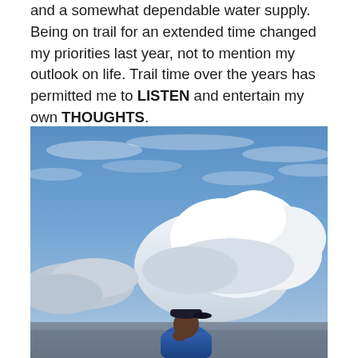and a somewhat dependable water supply. Being on trail for an extended time changed my priorities last year, not to mention my outlook on life. Trail time over the years has permitted me to LISTEN and entertain my own THOUGHTS.
[Figure (photo): A person wearing a dark baseball cap and blue jacket stands outdoors against a dramatic sky with large cumulus clouds. The person appears to be looking down or shielding their face.]